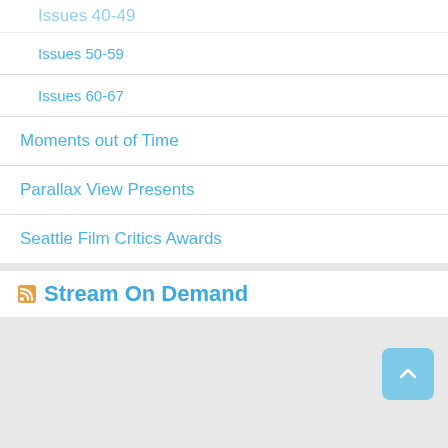Issues 40-49
Issues 50-59
Issues 60-67
Moments out of Time
Parallax View Presents
Seattle Film Critics Awards
Stream On Demand